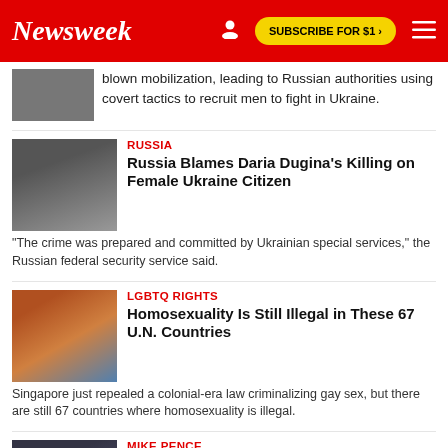Newsweek | SUBSCRIBE FOR $1 >
blown mobilization, leading to Russian authorities using covert tactics to recruit men to fight in Ukraine.
RUSSIA
Russia Blames Daria Dugina's Killing on Female Ukraine Citizen
"The crime was prepared and committed by Ukrainian special services," the Russian federal security service said.
LGBTQ RIGHTS
Homosexuality Is Still Illegal in These 67 U.N. Countries
Singapore just repealed a colonial-era law criminalizing gay sex, but there are still 67 countries where homosexuality is illegal.
MIKE PENCE
Mike Pence Says Jan. 6 Probe 'Squandered an Opportunity'